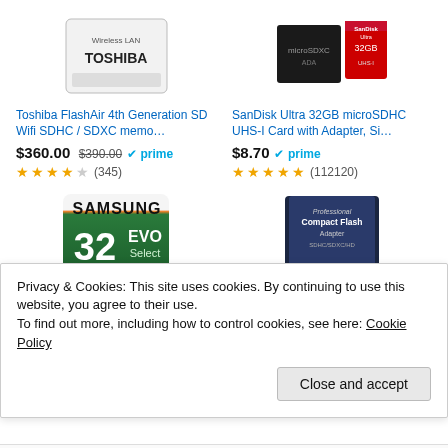[Figure (photo): Toshiba FlashAir wireless LAN SD card product image]
[Figure (photo): SanDisk Ultra 32GB microSDHC card and adapter product image]
Toshiba FlashAir 4th Generation SD Wifi SDHC / SDXC memo…
SanDisk Ultra 32GB microSDHC UHS-I Card with Adapter, Si…
$360.00 $390.00 prime (345)
$8.70 prime (112120)
[Figure (photo): Samsung 32GB EVO Select microSD card product image]
[Figure (photo): Shondigi CDA Compact Flash Adapter product image]
SAMSUNG (MR-MF32GA/AM)
Shondigi CDA Compact Flash
Privacy & Cookies: This site uses cookies. By continuing to use this website, you agree to their use.
To find out more, including how to control cookies, see here: Cookie Policy
Close and accept